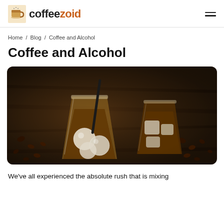coffeezoid
Home / Blog / Coffee and Alcohol
Coffee and Alcohol
[Figure (photo): Two glasses of iced coffee cocktails with large ice balls and a black straw, surrounded by scattered coffee beans on a dark wooden surface]
We've all experienced the absolute rush that is mixing